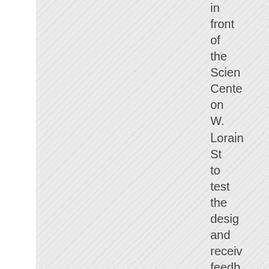in front of the Science Center on W. Lorain St to test the design and receive feedback in 2012. The design features